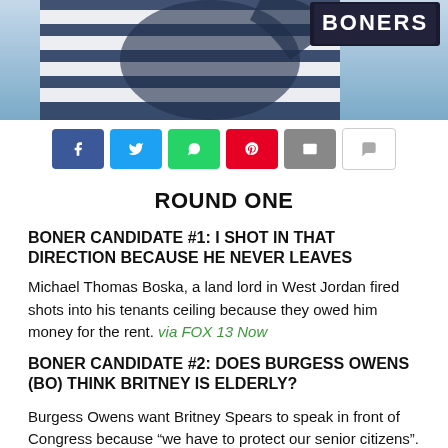[Figure (photo): Top portion of image showing person in striped shirt with 'BONERS' logo/text visible at top right, on a blue background]
[Figure (infographic): Row of social sharing buttons: Facebook (blue), Twitter (light blue), WhatsApp (green), Pinterest (red), Email (gray), Comment (white/gray)]
ROUND ONE
BONER CANDIDATE #1: I SHOT IN THAT DIRECTION BECAUSE HE NEVER LEAVES
Michael Thomas Boska, a land lord in West Jordan fired shots into his tenants ceiling because they owed him money for the rent. via FOX 13 Now
BONER CANDIDATE #2: DOES BURGESS OWENS (BO) THINK BRITNEY IS ELDERLY?
Burgess Owens want Britney Spears to speak in front of Congress because “we have to protect our senior citizens”.
via Salt Lake Tribune
BONER CANDIDATE #3: ANY BODY KNOW...